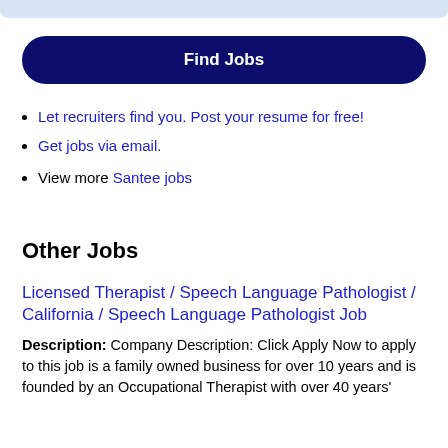Find Jobs
Let recruiters find you. Post your resume for free!
Get jobs via email.
View more Santee jobs
Other Jobs
Licensed Therapist / Speech Language Pathologist / California / Speech Language Pathologist Job
Description: Company Description: Click Apply Now to apply to this job is a family owned business for over 10 years and is founded by an Occupational Therapist with over 40 years'